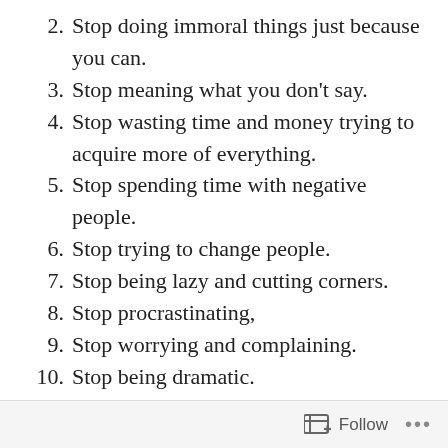2. Stop doing immoral things just because you can.
3. Stop meaning what you don't say.
4. Stop wasting time and money trying to acquire more of everything.
5. Stop spending time with negative people.
6. Stop trying to change people.
7. Stop being lazy and cutting corners.
8. Stop procrastinating,
9. Stop worrying and complaining.
10. Stop being dramatic.
11. Stop trying to be everything to everyone.
12. Stop making promises you can't keep.
13. Stop blaming others.
14. Stop reacting without a plan.
15. Stop confusing being busy with being productive.
Follow ...